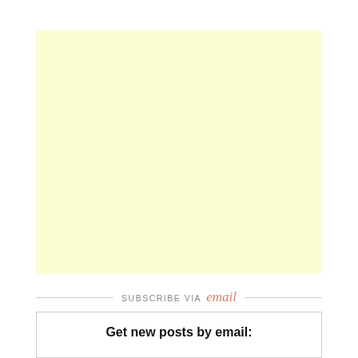[Figure (other): Light yellow advertisement or placeholder block]
SUBSCRIBE VIA email
Get new posts by email: